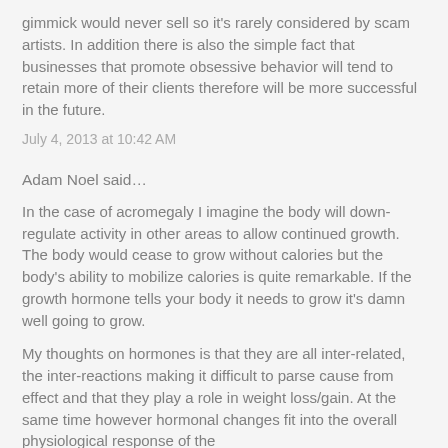gimmick would never sell so it's rarely considered by scam artists. In addition there is also the simple fact that businesses that promote obsessive behavior will tend to retain more of their clients therefore will be more successful in the future.
July 4, 2013 at 10:42 AM
Adam Noel said…
In the case of acromegaly I imagine the body will down-regulate activity in other areas to allow continued growth. The body would cease to grow without calories but the body's ability to mobilize calories is quite remarkable. If the growth hormone tells your body it needs to grow it's damn well going to grow.
My thoughts on hormones is that they are all inter-related, the inter-reactions making it difficult to parse cause from effect and that they play a role in weight loss/gain. At the same time however hormonal changes fit into the overall physiological response of the